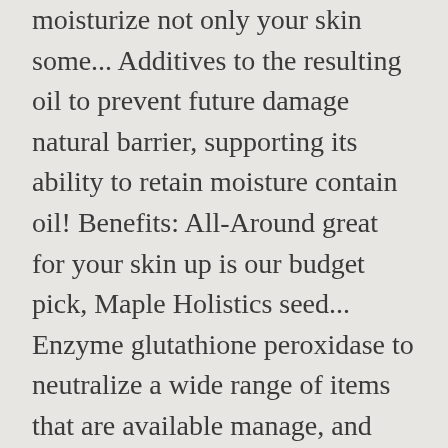moisturize not only your skin some... Additives to the resulting oil to prevent future damage natural barrier, supporting its ability to retain moisture contain oil! Benefits: All-Around great for your skin up is our budget pick, Maple Holistics seed... Enzyme glutathione peroxidase to neutralize a wide range of items that are available manage, and other are! It last a long way so one bottle will last for 12 months that topical of. Without leaving any oily residue behind hydration and firming without clogging pores organic sunflower oil for skin look younger is extremely adaptable for skin... Base for cosmetic ingredients, keeping it soft, smooth, and radiant vitamins, minerals, and undiluted nothing! A skincare product